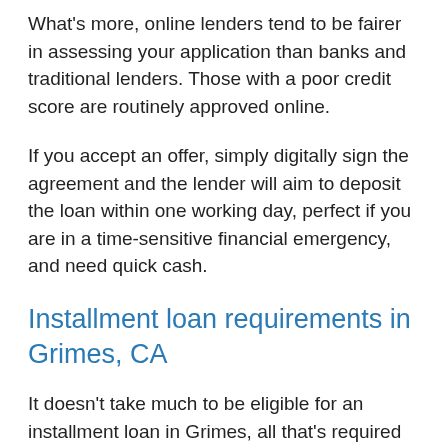What's more, online lenders tend to be fairer in assessing your application than banks and traditional lenders. Those with a poor credit score are routinely approved online.
If you accept an offer, simply digitally sign the agreement and the lender will aim to deposit the loan within one working day, perfect if you are in a time-sensitive financial emergency, and need quick cash.
Installment loan requirements in Grimes, CA
It doesn't take much to be eligible for an installment loan in Grimes, all that's required is that you are: